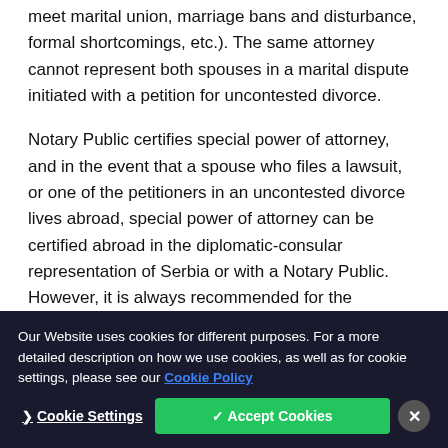meet marital union, marriage bans and disturbance, formal shortcomings, etc.). The same attorney cannot represent both spouses in a marital dispute initiated with a petition for uncontested divorce.
Notary Public certifies special power of attorney, and in the event that a spouse who files a lawsuit, or one of the petitioners in an uncontested divorce lives abroad, special power of attorney can be certified abroad in the diplomatic-consular representation of Serbia or with a Notary Public. However, it is always recommended for the certification to be done in the diplomatic-consular representation, if there is a possibility of this, due to quicker process and lower costs (lack of need for translation by an authorized court interpreter and the recognition of such power of attorney in Serbia).
Our Website uses cookies for different purposes. For a more detailed description on how we use cookies, as well as for cookie settings, please see our Cookie Policy